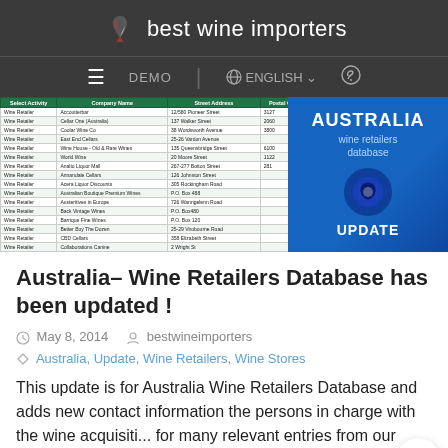best wine importers
DEMO | ENGLISH
[Figure (screenshot): Screenshot of Australia Wine Retailers Database spreadsheet with green header row showing columns Select Activity, Company Name, Street Address, Postal Code, alongside blue banner reading AUSTRALIA wine retailers database UPDATE]
Australia– Wine Retailers Database has been updated !
May 8, 2014   bestwineimporters
Australia, Update, Wine Retailers, Wine Stores
This update is for Australia Wine Retailers Database and adds new contact information the persons in charge with the wine acquisiti... for many relevant entries from our database.